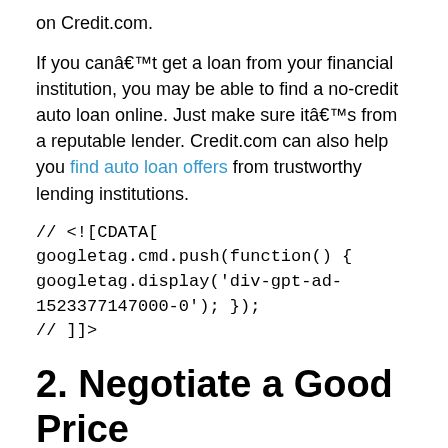on Credit.com.
If you canât get a loan from your financial institution, you may be able to find a no-credit auto loan online. Just make sure itâs from a reputable lender. Credit.com can also help you find auto loan offers from trustworthy lending institutions.
// <![CDATA[
googletag.cmd.push(function() { googletag.display('div-gpt-ad-1523377147000-0'); });
// ]]>
2. Negotiate a Good Price
A dealership could beat the offer you get from your bank or credit union. However, if you know youâre already approved for a loan, you can focus on comparing rates and prices instead of worrying about financing.
Reed says that itâs important to be wary. You donât want to